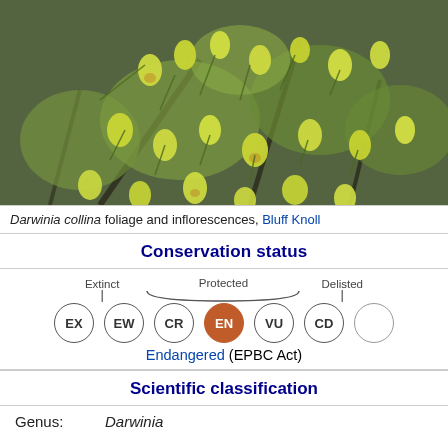[Figure (photo): Darwinia collina plant with yellow-green flowers and dense fine foliage, photographed at Bluff Knoll]
Darwinia collina foliage and inflorescences, Bluff Knoll
Conservation status
[Figure (infographic): Conservation status scale showing EX, EW, CR, EN (highlighted in orange as Endangered), VU, CD, and an empty circle, with labels Extinct, Protected, and Delisted above]
Endangered (EPBC Act)
Scientific classification
| Genus: | Darwinia |